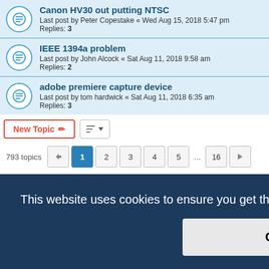Canon HV30 out putting NTSC
Last post by Peter Copestake « Wed Aug 15, 2018 5:47 pm
Replies: 3
IEEE 1394a problem
Last post by John Alcock « Sat Aug 11, 2018 9:58 am
Replies: 2
adobe premiere capture device
Last post by tom hardwick « Sat Aug 11, 2018 6:35 am
Replies: 3
New Topic  |  793 topics  1 2 3 4 5 ... 16 >
Jump to
FORUM PERMISSIONS
This website uses cookies to ensure you get the best experience on our website. Learn more
Got it!